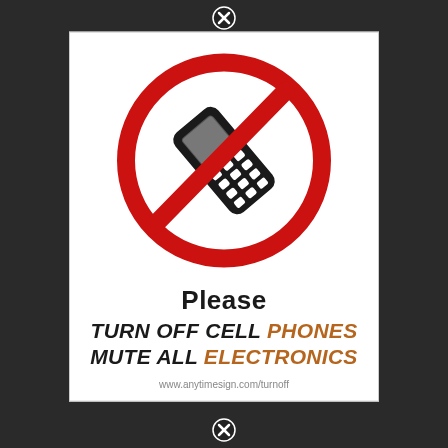[Figure (illustration): No cell phone sign: a black mobile phone with keypad inside a red prohibition circle (circle with diagonal slash)]
Please TURN OFF CELL PHONES MUTE ALL ELECTRONICS
www.anytimesign.com/turnoff